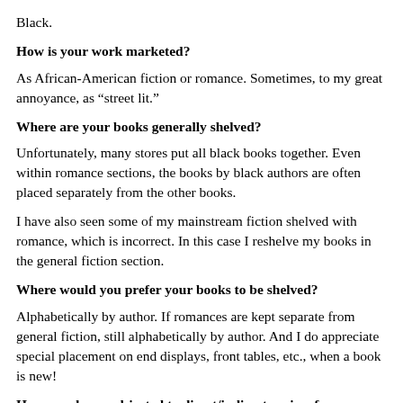Black.
How is your work marketed?
As African-American fiction or romance. Sometimes, to my great annoyance, as “street lit.”
Where are your books generally shelved?
Unfortunately, many stores put all black books together. Even within romance sections, the books by black authors are often placed separately from the other books.
I have also seen some of my mainstream fiction shelved with romance, which is incorrect. In this case I reshelve my books in the general fiction section.
Where would you prefer your books to be shelved?
Alphabetically by author. If romances are kept separate from general fiction, still alphabetically by author. And I do appreciate special placement on end displays, front tables, etc., when a book is new!
Have you been subjected to direct/indirect racism from editors, publishers etc in your publishing career.